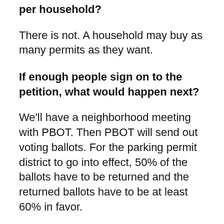per household?
There is not. A household may buy as many permits as they want.
If enough people sign on to the petition, what would happen next?
We'll have a neighborhood meeting with PBOT. Then PBOT will send out voting ballots. For the parking permit district to go into effect, 50% of the ballots have to be returned and the returned ballots have to be at least 60% in favor.
Note: signing on to the petition isn't approving the permit program, but approving a vote.
Do I have to have a car to sign the petition? Do I have to buy a permit if I sign the petition?